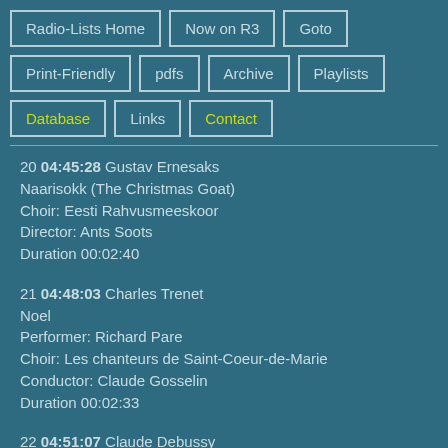Radio-Lists Home
Now on R3
Goto
Print-Friendly
pdfs
Archive
Playlists
Database
Links
Contact
20 04:45:28 Gustav Ernesaks
Naarisokk (The Christmas Goat)
Choir: Eesti Rahvusmeeskoor
Director: Ants Soots
Duration 00:02:40
21 04:48:03 Charles Trenet
Noel
Performer: Richard Pare
Choir: Les chanteurs de Saint-Coeur-de-Marie
Conductor: Claude Gosselin
Duration 00:02:33
22 04:51:07 Claude Debussy
Chansons de Bilitis - 3 melodies for voice & piano (1897)